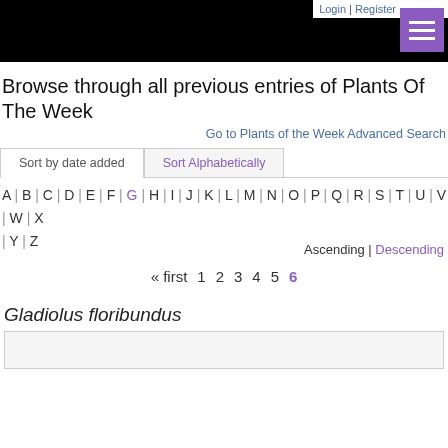Login | Register
Browse through all previous entries of Plants Of The Week
Go to Plants of the Week Advanced Search
Sort by date added | Sort Alphabetically
A | B | C | D | E | F | G | H | I | J | K | L | M | N | O | P | Q | R | S | T | U | V | W | X | Y | Z
Ascending | Descending
« first  1  2  3  4  5  6
Gladiolus floribundus